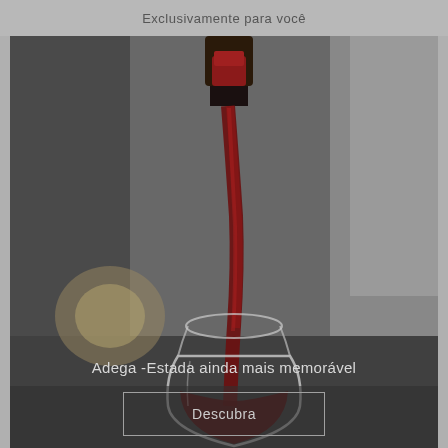Exclusivamente para você
[Figure (photo): Close-up photo of red wine being poured from a dark bottle into a stemless wine glass on a dark surface, with moody dark background and warm golden light in background.]
Adega -Estada ainda mais memorável
Descubra